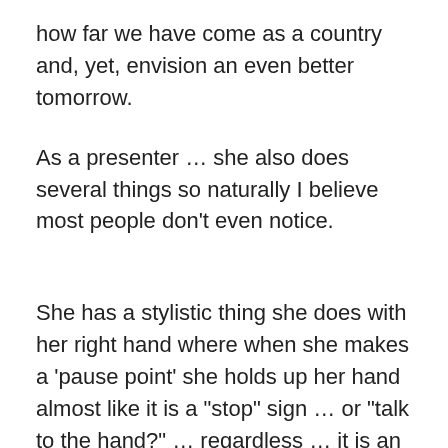how far we have come as a country and, yet, envision an even better tomorrow.
As a presenter … she also does several things so naturally I believe most people don't even notice.
She has a stylistic thing she does with her right hand where when she makes a 'pause point' she holds up her hand almost like it is a "stop" sign … or "talk to the hand?" … regardless … it is an effective